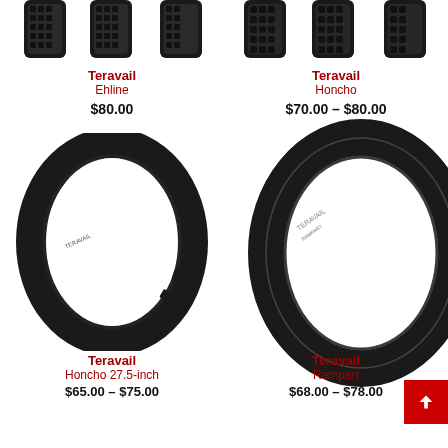[Figure (photo): Top portion of two Teravail bicycle tire product images (Ehline on left, Honcho on right) shown in a two-column product listing grid.]
Teravail
Ehline
$80.00
Teravail
Honcho
$70.00 – $80.00
[Figure (photo): Full Teravail Honcho 27.5-inch bicycle tire with knobby tread pattern, shown as a standalone product image.]
[Figure (photo): Partial Teravail Rampart bicycle tire with smooth/light tread, shown as a standalone product image.]
Teravail
Honcho 27.5-inch
$65.00 – $75.00
Teravail
Rampart
$68.00 – $78.00